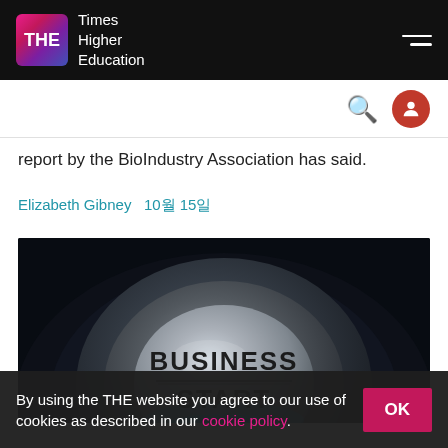Times Higher Education
report by the BioIndustry Association has said.
Elizabeth Gibney   10월 15일
[Figure (photo): Close-up photo of a metallic button with 'BUSINESS START' engraved on it, set against a dark background with a blue glow.]
By using the THE website you agree to our use of cookies as described in our cookie policy.